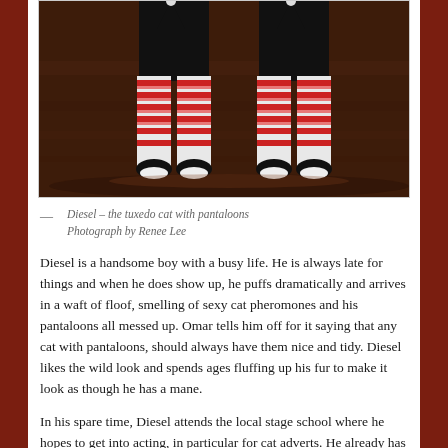[Figure (photo): Close-up photo of a cat's legs wearing red and white striped Christmas elf costume/pantaloons, standing on a wooden floor surface. Two cats visible side by side.]
— Diesel – the tuxedo cat with pantaloons Photograph by Renee Lee
Diesel is a handsome boy with a busy life. He is always late for things and when he does show up, he puffs dramatically and arrives in a waft of floof, smelling of sexy cat pheromones and his pantaloons all messed up. Omar tells him off for it saying that any cat with pantaloons, should always have them nice and tidy. Diesel likes the wild look and spends ages fluffing up his fur to make it look as though he has a mane.
In his spare time, Diesel attends the local stage school where he hopes to get into acting, in particular for cat adverts. He already has some of the female cats throwing